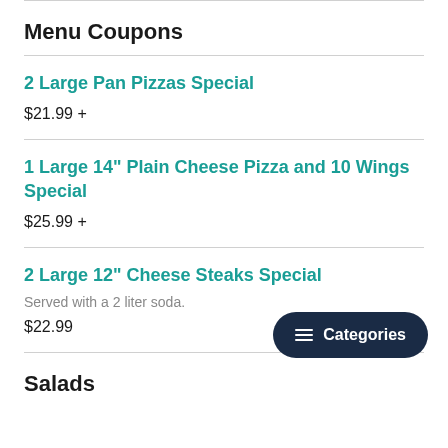Menu Coupons
2 Large Pan Pizzas Special
$21.99 +
1 Large 14" Plain Cheese Pizza and 10 Wings Special
$25.99 +
2 Large 12" Cheese Steaks Special
Served with a 2 liter soda.
$22.99
Salads